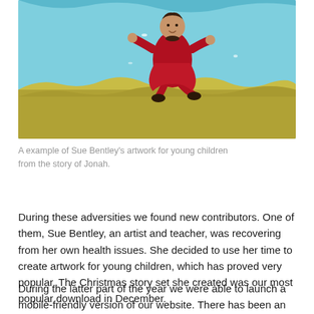[Figure (illustration): Illustration of a cartoon figure in a red robe/dress jumping or flying over a yellow-green grassy landscape with a blue sky background, from the story of Jonah. Art by Sue Bentley.]
A example of Sue Bentley's artwork for young children from the story of Jonah.
During these adversities we found new contributors. One of them, Sue Bentley, an artist and teacher, was recovering from her own health issues. She decided to use her time to create artwork for young children, which has proved very popular. The Christmas story set she created was our most popular download in December.
During the latter part of the year we were able to launch a mobile-friendly version of our website. There has been an